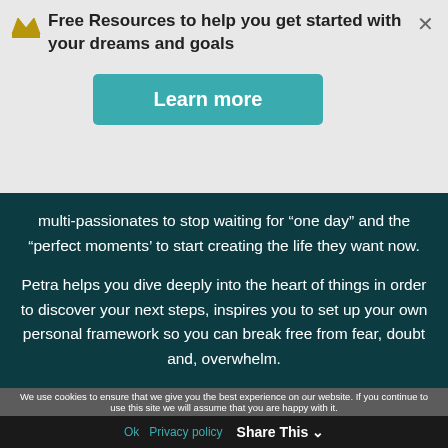Free Resources to help you get started with your dreams and goals
Learn more
multi-passionates to stop waiting for “one day” and the “perfect moments’ to start creating the life they want now.
Petra helps you dive deeply into the heart of things in order to discover your next steps, inspires you to set up your own personal framework so you can break free from fear, doubt and, overwhelm.
We use cookies to ensure that we give you the best experience on our website. If you continue to use this site we will assume that you are happy with it.
Ok  Privacy policy
Share This